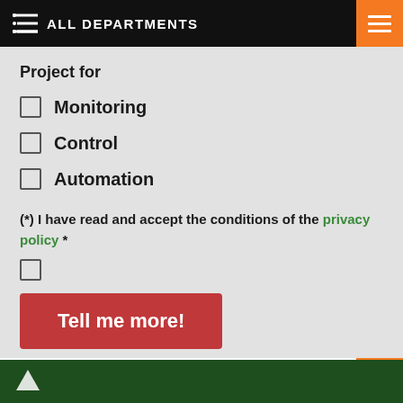ALL DEPARTMENTS
Project for
Monitoring
Control
Automation
(*) I have read and accept the conditions of the privacy policy *
Tell me more!